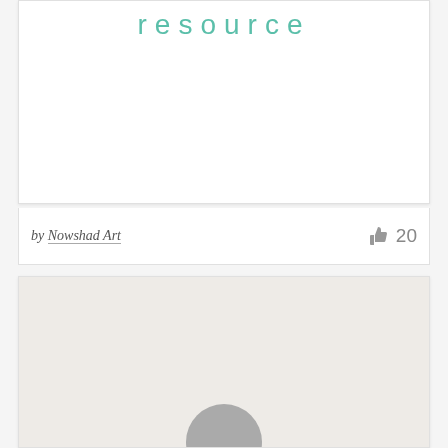resource
by Nowshad Art
20
[Figure (illustration): A light beige/grey card area with a partially visible circular avatar/profile image at the bottom center]